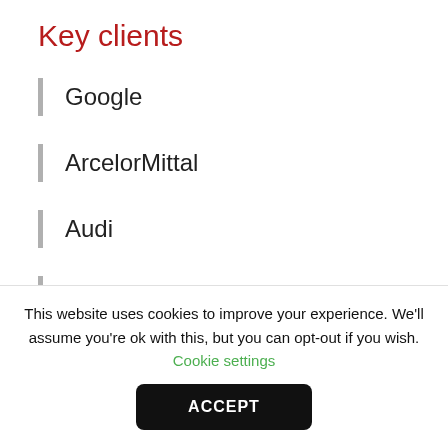Key clients
Google
ArcelorMittal
Audi
Ericsson
Kimberly-Clark
Mondelez
This website uses cookies to improve your experience. We'll assume you're ok with this, but you can opt-out if you wish. Cookie settings
ACCEPT